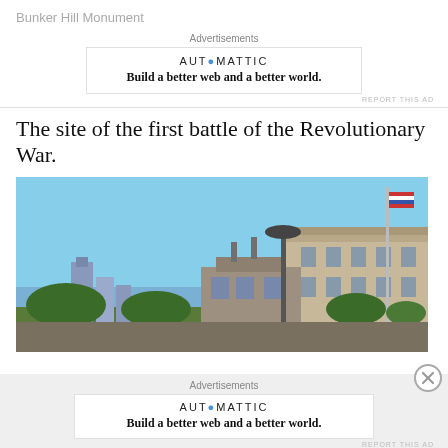Bunker Hill Monument
Advertisements
[Figure (infographic): Automattic advertisement: logo reading AUT●MATTIC and tagline 'Build a better web and a better world.']
REPORT THIS AD
The site of the first battle of the Revolutionary War.
[Figure (photo): Outdoor photo showing a street scene with a flagpole flying a US flag, a large stone/brick building on the right, trees, and a tall lamp post. Clear blue sky in the background with a city skyline visible on the left.]
Advertisements
[Figure (infographic): Automattic advertisement: logo reading AUT●MATTIC and tagline 'Build a better web and a better world.']
REPORT THIS AD